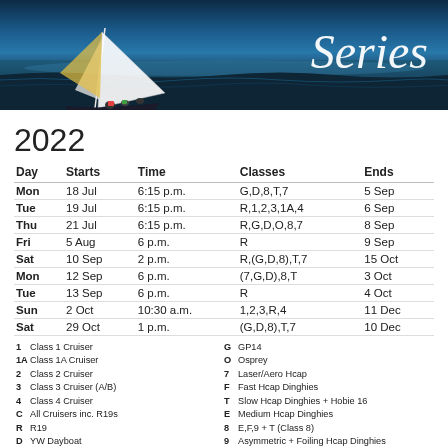[Figure (photo): Sailing boat heeling in strong wind on open water, with 'Series' text overlay in white italic on the right side]
2022
| Day | Starts | Time | Classes | Ends |
| --- | --- | --- | --- | --- |
| Mon | 18 Jul | 6:15 p.m. | G,D,8,T,7 | 5 Sep |
| Tue | 19 Jul | 6:15 p.m. | R,1,2,3,1A,4 | 6 Sep |
| Thu | 21 Jul | 6:15 p.m. | R,G,D,O,8,7 | 8 Sep |
| Fri | 5 Aug | 6 p.m. | R | 9 Sep |
| Sat | 10 Sep | 2 p.m. | R,(G,D,8),T,7 | 15 Oct |
| Mon | 12 Sep | 6 p.m. | (7,G,D),8,T | 3 Oct |
| Tue | 13 Sep | 6 p.m. | R | 4 Oct |
| Sun | 2 Oct | 10:30 a.m. | 1,2,3,R,4 | 11 Dec |
| Sat | 29 Oct | 1 p.m. | (G,D,8),T,7 | 10 Dec |
1  Class 1 Cruiser
1A Class 1A Cruiser
2  Class 2 Cruiser
3  Class 3 Cruiser (A/B)
4  Class 4 Cruiser
C  All Cruisers inc. R19s
R  R19
D  YW Dayboat
G  GP14
O  Osprey
7  Laser/Aero Hcap
F  Fast Hcap Dinghies
T  Slow Hcap Dinghies + Hobie 16
E  Medium Hcap Dinghies
8  E,F,9 + T (Class 8)
9  Asymmetric + Foiling Hcap Dinghies